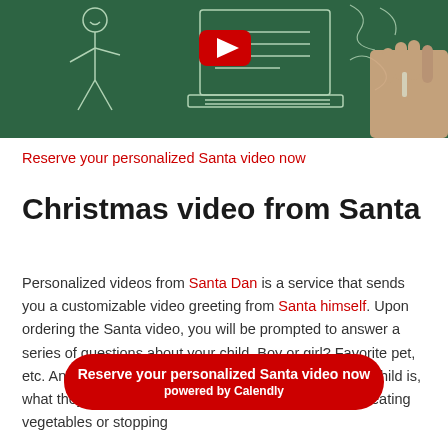[Figure (screenshot): YouTube video thumbnail showing a chalkboard with chalk drawings of a person and a laptop, with a YouTube play button icon in red at the top center, and a hand drawing on the right side.]
Reserve your personalized Santa video now
Christmas video from Santa
Personalized videos from Santa Dan is a service that sends you a customizable video greeting from Santa himself. Upon ordering the Santa video, you will be prompted to answer a series of questions about your child. Boy or girl? Favorite pet, etc. And then more detailed questions like how old the child is, what they most requested something in particular, like eating vegetables or stopping
Reserve your personalized Santa video now
powered by Calendly